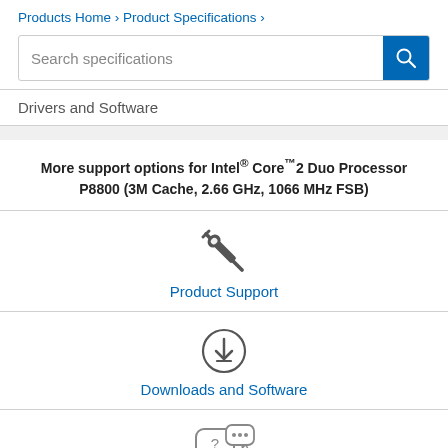Products Home › Product Specifications ›
Search specifications
Drivers and Software
More support options for Intel® Core™2 Duo Processor P8800 (3M Cache, 2.66 GHz, 1066 MHz FSB)
[Figure (illustration): Crossed screwdriver and wrench tool icon]
Product Support
[Figure (illustration): Download arrow inside a circle icon]
Downloads and Software
[Figure (illustration): Two speech/chat bubbles with question mark icon]
Support Community